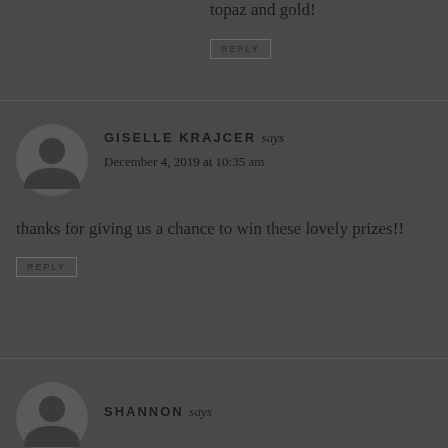topaz and gold!
REPLY
GISELLE KRAJCER says
December 4, 2019 at 10:35 am
thanks for giving us a chance to win these lovely prizes!!
REPLY
SHANNON says